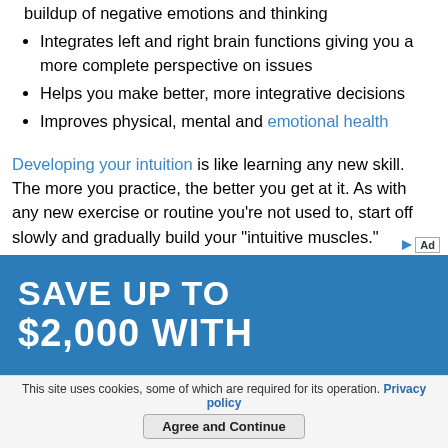buildup of negative emotions and thinking
Integrates left and right brain functions giving you a more complete perspective on issues
Helps you make better, more integrative decisions
Improves physical, mental and emotional health
Developing your intuition is like learning any new skill. The more you practice, the better you get at it. As with any new exercise or routine you're not used to, start off slowly and gradually build your "intuitive muscles."
[Figure (other): Advertisement banner with teal/blue background showing text 'SAVE UP TO $2,000 WITH' in large white bold letters, with an Ad badge in the top right corner]
This site uses cookies, some of which are required for its operation. Privacy policy
Agree and Continue